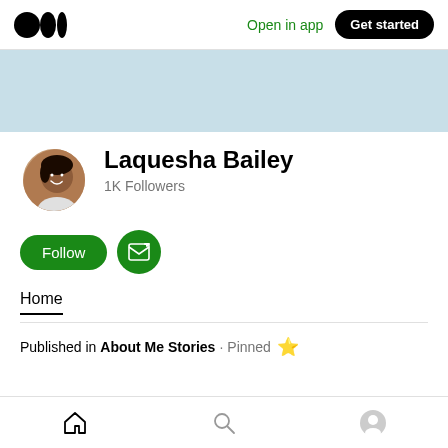Medium logo | Open in app | Get started
[Figure (illustration): Light blue banner/header background image]
[Figure (photo): Profile photo of Laquesha Bailey, a smiling woman touching her face]
Laquesha Bailey
1K Followers
Follow | Subscribe (email icon)
Home
Published in About Me Stories · Pinned ✦
Home | Search | Profile